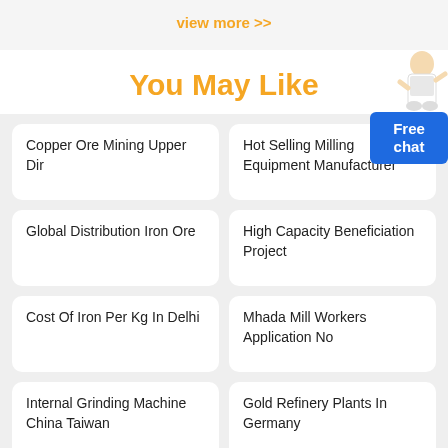view more >>
You May Like
Copper Ore Mining Upper Dir
Hot Selling Milling Equipment Manufacturer
Global Distribution Iron Ore
High Capacity Beneficiation Project
Cost Of Iron Per Kg In Delhi
Mhada Mill Workers Application No
Internal Grinding Machine China Taiwan
Gold Refinery Plants In Germany